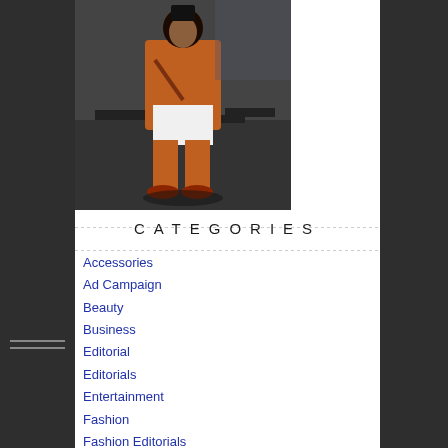[Figure (photo): Person wearing an orange/rust outfit with a white dress/skirt, photographed from a low angle in what appears to be an indoor venue]
CATEGORIES
Accessories
Ad Campaign
Beauty
Business
Editorial
Editorials
Entertainment
Fashion
Fashion Editorials
Grooming
Health & Fitness
Interview
Magazine
Media
Models
Music
Sneakers